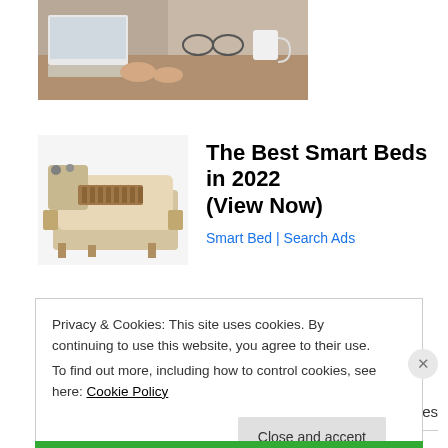[Figure (photo): Partial photo of a person working at a desk with a laptop, glasses, and coffee mug visible]
[Figure (photo): Advertisement image of a high-tech smart bed with massage and storage features]
The Best Smart Beds in 2022 (View Now)
Smart Bed | Search Ads
September 15, 2015
30 Replies
Privacy & Cookies: This site uses cookies. By continuing to use this website, you agree to their use.
To find out more, including how to control cookies, see here: Cookie Policy
Close and accept